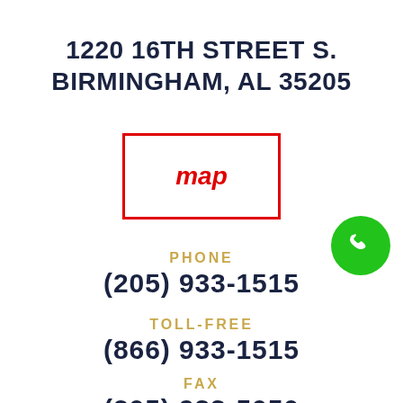1220 16TH STREET S. BIRMINGHAM, AL 35205
[Figure (other): Red-bordered rectangle button labeled 'map' in red italic text]
[Figure (other): Green circular phone icon with white handset symbol]
PHONE
(205) 933-1515
TOLL-FREE
(866) 933-1515
FAX
(205) 933-5050